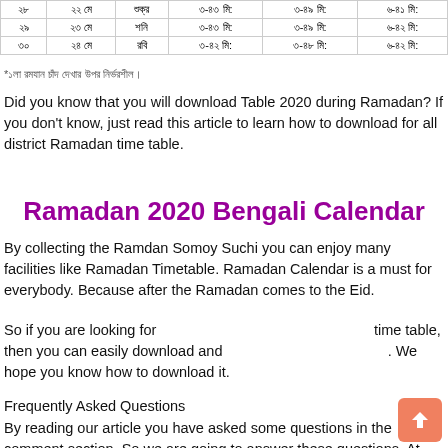|  |  |  | ৩-৪৩ মি: | ৩-৪৯ মি: | ৬-৪১ মি: |
| --- | --- | --- | --- | --- | --- |
| ২৮ | ২২ মে | শুক্র | ৩-৪৩ মি: | ৩-৪৯ মি: | ৬-৪১ মি: |
| ২৯ | ২৩ মে | শনি | ৩-৪৩ মি: | ৩-৪৯ মি: | ৬-৪২ মি: |
| ৩০ | ২৪ মে | রবি | ৩-৪২ মি: | ৩-৪৮ মি: | ৬-৪২ মি: |
*১লা রমযান চাঁদ দেখার উপর নির্ভরশীল।
Did you know that you will download Table 2020 during Ramadan? If you don't know, just read this article to learn how to download for all district Ramadan time table.
Ramadan 2020 Bengali Calendar
By collecting the Ramdan Somoy Suchi you can enjoy many facilities like Ramadan Timetable. Ramadan Calendar is a must for everybody. Because after the Ramadan comes to the Eid.
So if you are looking for                                                                   time table, then you can easily download and                                            . We hope you know how to download it.
Frequently Asked Questions
By reading our article you have asked some questions in the comment section. So we are going to answer these questions. At